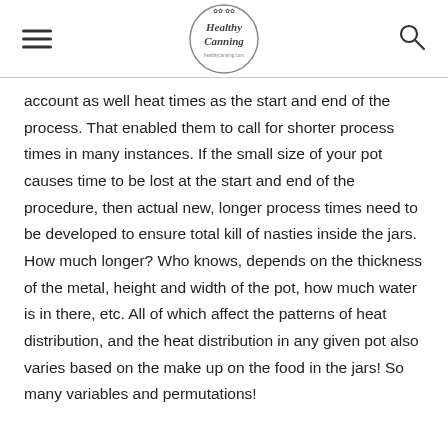Healthy Canning healthycanning.com
account as well heat times as the start and end of the process. That enabled them to call for shorter process times in many instances. If the small size of your pot causes time to be lost at the start and end of the procedure, then actual new, longer process times need to be developed to ensure total kill of nasties inside the jars. How much longer? Who knows, depends on the thickness of the metal, height and width of the pot, how much water is in there, etc. All of which affect the patterns of heat distribution, and the heat distribution in any given pot also varies based on the make up on the food in the jars! So many variables and permutations!